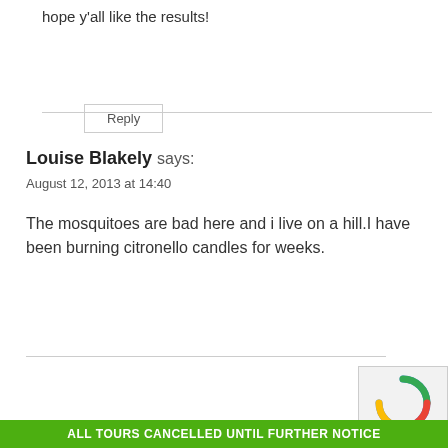hope y’all like the results!
Reply
Louise Blakely says:
August 12, 2013 at 14:40
The mosquitoes are bad here and i live on a hill.I have been burning citronello candles for weeks.
Reply
ALL TOURS CANCELLED UNTIL FURTHER NOTICE